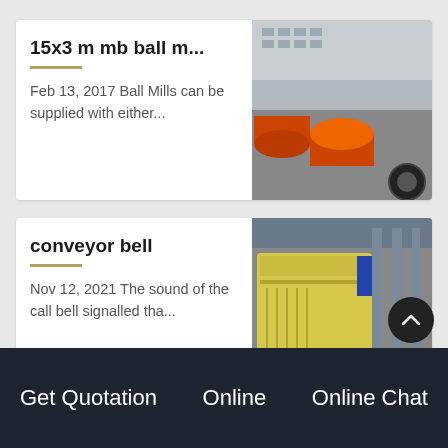15x3 m mb ball m...
Feb 13, 2017 Ball Mills can be supplied with either...
[Figure (photo): Photo of large orange cylindrical ball mills in an industrial yard with a building in the background]
conveyor bell
Nov 12, 2021 The sound of the call bell signalled tha...
[Figure (photo): Photo of yellow industrial crusher/conveyor machinery in a factory setting]
stone crusher den...
[Figure (photo): Photo of red and white industrial stone crusher wheels/machinery]
Get Quotation   Online   Online Chat